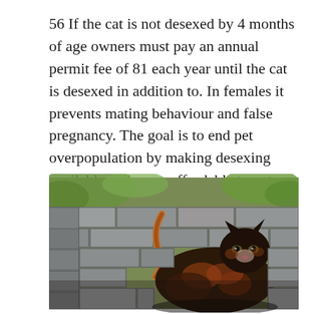56 If the cat is not desexed by 4 months of age owners must pay an annual permit fee of 81 each year until the cat is desexed in addition to. In females it prevents mating behaviour and false pregnancy. The goal is to end pet overpopulation by making desexing available and more affordable to pet owners who need it most.
[Figure (photo): A tortoiseshell cat sitting against a stone wall with green foliage visible in the background. The cat is dark brown/black with orange markings and is looking slightly upward to the right.]